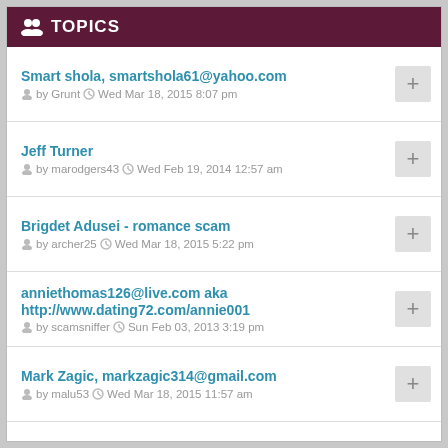TOPICS
Smart shola, smartshola61@yahoo.com
by Grunt  Wed Mar 18, 2015 8:07 pm
Jeff Turner
by marodgers43  Wed Feb 19, 2014 12:57 am
Brigdet Adusei - romance scam
by archer25  Wed Mar 18, 2015 5:22 pm
anniethomas126@live.com aka http://www.dating72.com/annie001
by scamsniffer  Sun Feb 03, 2013 3:19 pm
Mark Zagic, markzagic314@gmail.com
by malu53  Wed Mar 18, 2015 11:57 am
Jerry John, jerryjohn113@gmail.com
by malu53  Wed Mar 18, 2015 1:56 pm
Allen Smith, allen.smith57@yahoo.com
by Grunt  Sun May 13, 2012 7:00 am
Amanda Zakari amandzakari@gmail.com